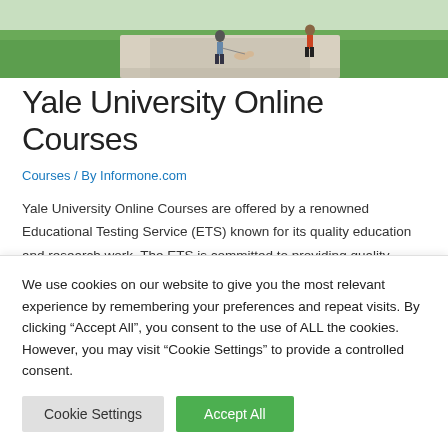[Figure (photo): Campus walkway photo showing people walking on a path with green grass in the background]
Yale University Online Courses
Courses / By Informone.com
Yale University Online Courses are offered by a renowned Educational Testing Service (ETS) known for its quality education and research work. The ETS is committed to providing quality
We use cookies on our website to give you the most relevant experience by remembering your preferences and repeat visits. By clicking “Accept All”, you consent to the use of ALL the cookies. However, you may visit "Cookie Settings" to provide a controlled consent.